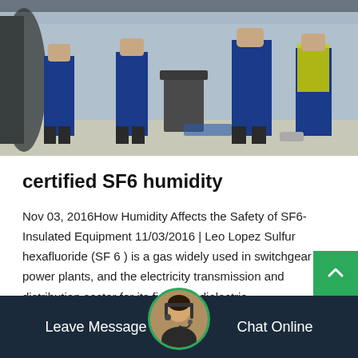[Figure (photo): Workers in blue overalls/uniforms at an industrial/outdoor worksite with equipment and containers visible]
certified SF6 humidity
Nov 03, 2016How Humidity Affects the Safety of SF6-Insulated Equipment 11/03/2016 | Leo Lopez Sulfur hexafluoride (SF 6 ) is a gas widely used in switchgear in power plants, and the electricity transmission and distribution sector for its first-rate dielectric…
Get Price
Leave Message  Chat Online